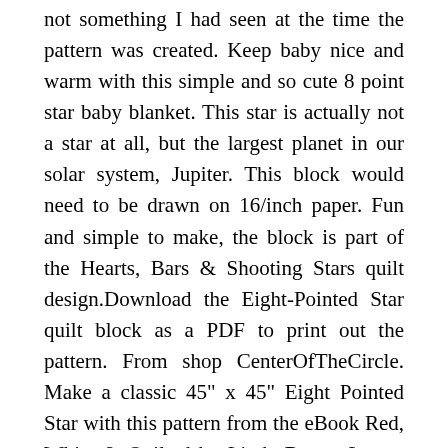not something I had seen at the time the pattern was created. Keep baby nice and warm with this simple and so cute 8 point star baby blanket. This star is actually not a star at all, but the largest planet in our solar system, Jupiter. This block would need to be drawn on 16/inch paper. Fun and simple to make, the block is part of the Hearts, Bars & Shooting Stars quilt design.Download the Eight-Pointed Star quilt block as a PDF to print out the pattern. From shop CenterOfTheCircle. Make a classic 45" x 45" Eight Pointed Star with this pattern from the eBook Red, White & Quilted by Linda Baxter Lasco. Tutorial: Eight-Pointed Star Block Pattern This quilt block will end up measuring 6"x6". We also offer an option at $49.99 for commercial use that includes SVG files. The A width of the finished block would also need to be evenly divisible by this measurement. 8 Inch Star Pattern; Get All 1,475 Patterns. This 9 Pointed Star Round Ripple Afghan is just a basic pattern, so you can change up the colors to really make it